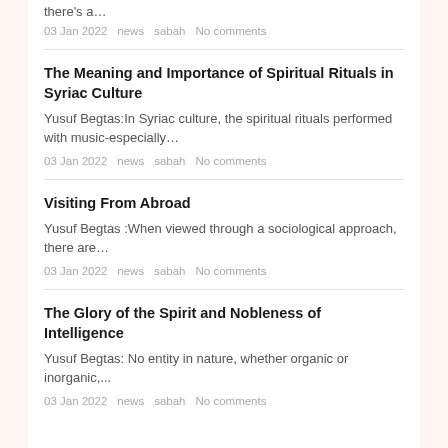there's a…
03 Jan 2022   news   sabah   No comments
The Meaning and Importance of Spiritual Rituals in Syriac Culture
Yusuf Begtas:In Syriac culture, the spiritual rituals performed with music-especially…
03 Jan 2022   news   sabah   No comments
Visiting From Abroad
Yusuf Begtas :When viewed through a sociological approach, there are…
03 Jan 2022   news   sabah   No comments
The Glory of the Spirit and Nobleness of Intelligence
Yusuf Begtas: No entity in nature, whether organic or inorganic,...
03 Jan 2022   news   sabah   No comments